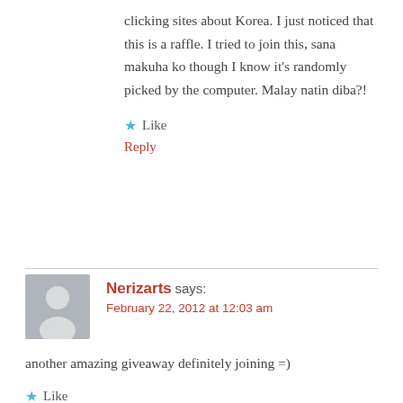clicking sites about Korea. I just noticed that this is a raffle. I tried to join this, sana makuha ko though I know it’s randomly picked by the computer. Malay natin diba?!
★ Like
Reply
Nerizarts says:
February 22, 2012 at 12:03 am
another amazing giveaway definitely joining =)
★ Like
Reply